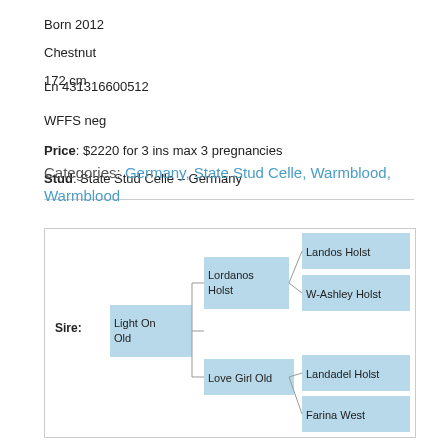Born 2012
Chestnut
172 cm
Ln 431316600512
WFFS neg
Price: $2220 for 3 ins max 3 pregnancies
Stud: State Stud Celle – Germany
Categories: Germany, State Stud Celle, Warmblood, Warmblood
[Figure (other): Pedigree chart showing ancestry: Sire: Light On Old; Lordanos Holst; Love Girl Old; Landos Holst; W-Ashley Holst; Landadel Holst; Farina West]